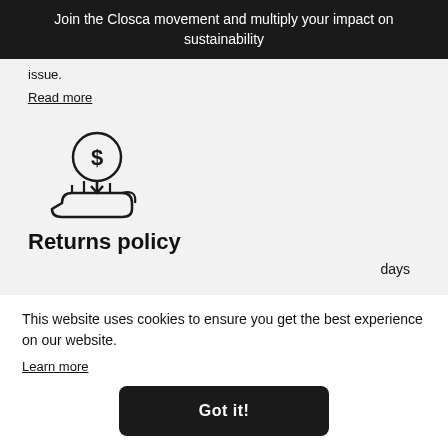Join the Closca movement and multiply your impact on sustainability
issue.
Read more
[Figure (illustration): Hand holding a coin with dollar sign icon, representing returns/money-back policy]
Returns policy
days
This website uses cookies to ensure you get the best experience on our website.
Learn more
Got it!